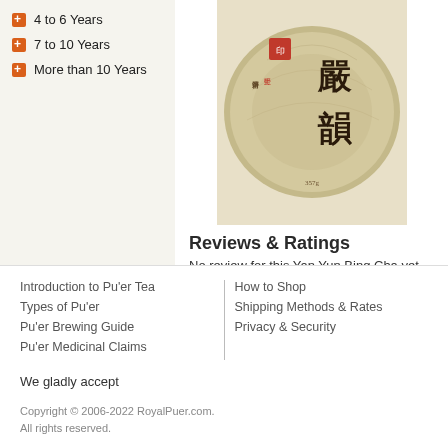4 to 6 Years
7 to 10 Years
More than 10 Years
[Figure (photo): Round compressed Pu'er tea cake (Yan Yun Bing Cha) with Chinese characters on wrapper]
Reviews & Ratings
No review for this Yan Yun Bing Cha yet...
If you have purchased this tea before and wish to review it,
Introduction to Pu'er Tea
Types of Pu'er
Pu'er Brewing Guide
Pu'er Medicinal Claims
How to Shop
Shipping Methods & Rates
Privacy & Security
We gladly accept
Copyright © 2006-2022 RoyalPuer.com. All rights reserved.